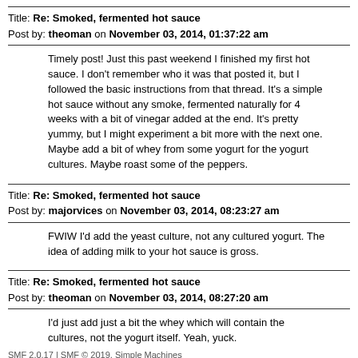Title: Re: Smoked, fermented hot sauce
Post by: theoman on November 03, 2014, 01:37:22 am
Timely post! Just this past weekend I finished my first hot sauce. I don't remember who it was that posted it, but I followed the basic instructions from that thread. It's a simple hot sauce without any smoke, fermented naturally for 4 weeks with a bit of vinegar added at the end. It's pretty yummy, but I might experiment a bit more with the next one. Maybe add a bit of whey from some yogurt for the yogurt cultures. Maybe roast some of the peppers.
Title: Re: Smoked, fermented hot sauce
Post by: majorvices on November 03, 2014, 08:23:27 am
FWIW I'd add the yeast culture, not any cultured yogurt. The idea of adding milk to your hot sauce is gross.
Title: Re: Smoked, fermented hot sauce
Post by: theoman on November 03, 2014, 08:27:20 am
I'd just add just a bit the whey which will contain the cultures, not the yogurt itself. Yeah, yuck.
SMF 2.0.17 | SMF © 2019, Simple Machines